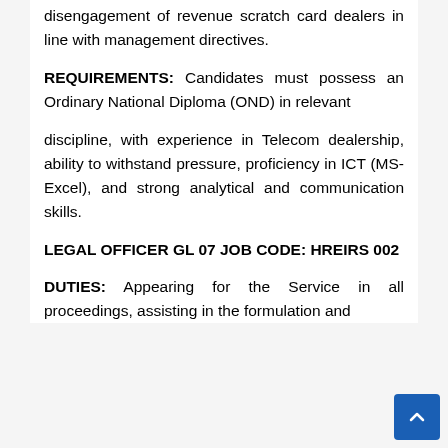...in the process of engagement and disengagement of revenue scratch card dealers in line with management directives.
REQUIREMENTS: Candidates must possess an Ordinary National Diploma (OND) in relevant
discipline, with experience in Telecom dealership, ability to withstand pressure, proficiency in ICT (MS-Excel), and strong analytical and communication skills.
LEGAL OFFICER GL 07 JOB CODE: HREIRS 002
DUTIES: Appearing for the Service in all proceedings, assisting in the formulation and